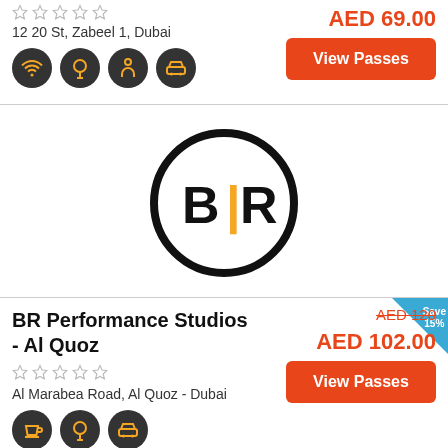12 20 St, Zabeel 1, Dubai
AED 69.00
[Figure (illustration): Four dark circular amenity icons: WiFi, restaurant/food, person/activity, car/taxi]
View Passes
[Figure (logo): BR Performance Studios logo - black circle with BR letters, R is yellow]
BR Performance Studios - Al Quoz
AED 120 (strikethrough), AED 102.00
Save 15%
Al Marabea Road, Al Quoz - Dubai
View Passes
[Figure (illustration): Three dark circular amenity icons: coffee cup, restaurant/food, car/taxi]